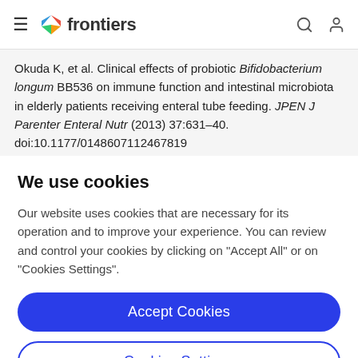frontiers
Okuda K, et al. Clinical effects of probiotic Bifidobacterium longum BB536 on immune function and intestinal microbiota in elderly patients receiving enteral tube feeding. JPEN J Parenter Enteral Nutr (2013) 37:631–40. doi:10.1177/0148607112467819
We use cookies
Our website uses cookies that are necessary for its operation and to improve your experience. You can review and control your cookies by clicking on "Accept All" or on "Cookies Settings".
Accept Cookies
Cookies Settings